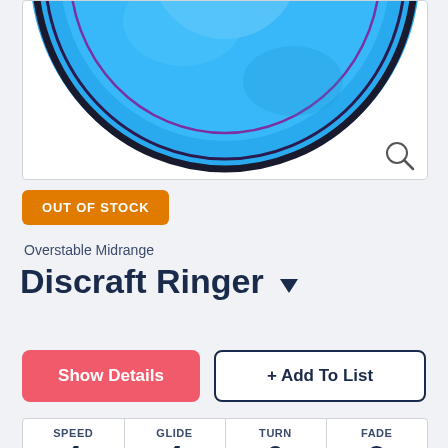[Figure (photo): Blue Discraft Ringer disc golf disc, partial top-down view showing edge label '1.5 PUTT & APPROACH' with dark ring markings on a bright blue disc]
OUT OF STOCK
Overstable Midrange
Discraft Ringer
Show Details
+ Add To List
| SPEED | GLIDE | TURN | FADE |
| --- | --- | --- | --- |
| 4 | 4 | 0 | 2 |